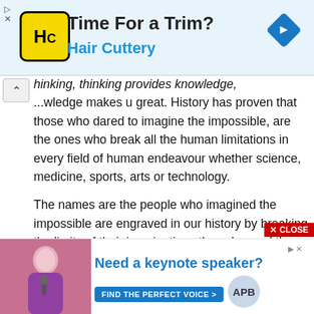[Figure (infographic): Top advertisement banner for Hair Cuttery with yellow HC logo, title 'Time For a Trim?', subtitle 'Hair Cuttery', and a blue diamond navigation arrow icon on the right.]
hinking, thinking provides knowledge, ...wledge makes u great. History has proven that those who dared to imagine the impossible, are the ones who break all the human limitations in every field of human endeavour whether science, medicine, sports, arts or technology.

The names are the people who imagined the impossible are engraved in our history by breaking the limits of their imaginations they changed the world. You take C.V. Raman, You take Newton, You take Einstein, You take Chandrashekar, by breaking the limits of their imaginations they
[Figure (infographic): Bottom advertisement banner: 'Need a keynote speaker? FIND THE PERFECT VOICE > APB' with woman photo on left side.]